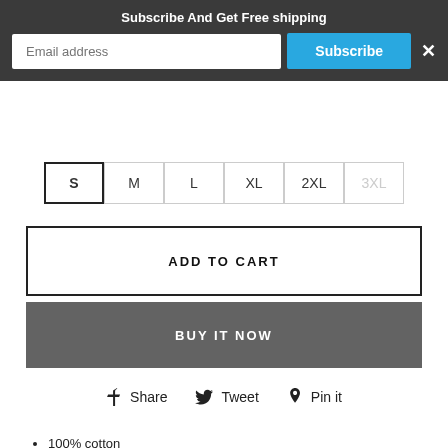Subscribe And Get Free shipping
S  M  L  XL  2XL  3XL
ADD TO CART
BUY IT NOW
Share  Tweet  Pin it
100% cotton
Banded neck and armholes; Double-needle hem
Ash Grey is 99% cotton, 1% polyester, Sport Grey is 90% cotton, 10% polyester
Decoration type: Digital Print